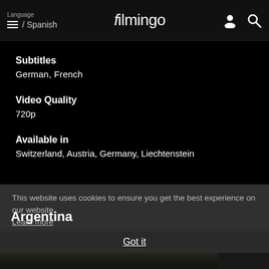Language / Spanish | filmingo
Subtitles
German, French
Video Quality
720p
Available in
Switzerland, Austria, Germany, Liechtenstein
This website uses cookies to ensure you get the best experience on our website.
Learn more
Argentina
Got it
[Figure (screenshot): Bottom strip showing film thumbnails with a star rating icon overlay]